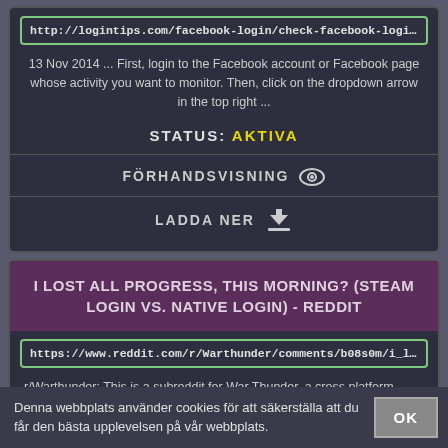http://logintips.com/facebook-login/check-facebook-login-history-recent
13 Nov 2014 ... First, login to the Facebook account or Facebook page whose activity you want to monitor. Then, click on the dropdown arrow in the top right ...
STATUS: AKTIVA
FÖRHANDSVISNING 👁
LADDA NER ⬇
I LOST ALL PROGRESS, THIS MORNING? (STEAM LOGIN VS. NATIVE LOGIN) - REDDIT
https://www.reddit.com/r/Warthunder/comments/b08s0m/i_lost_all_pro
r/Warthunder: This is a subreddit for War Thunder, a cross platform vehicular
Denna webbplats använder cookies för att säkerställa att du får den bästa upplevelsen på vår webbplats.